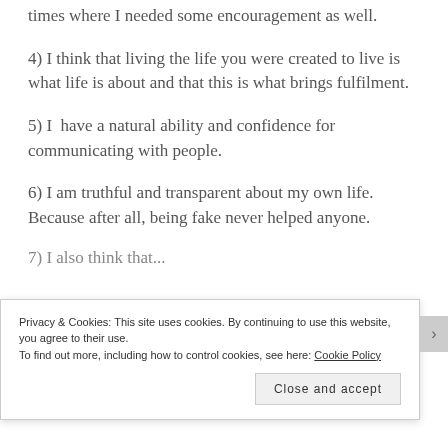times where I needed some encouragement as well.
4) I think that living the life you were created to live is what life is about and that this is what brings fulfilment.
5) I  have a natural ability and confidence for communicating with people.
6) I am truthful and transparent about my own life. Because after all, being fake never helped anyone.
7) [partially visible text]
Privacy & Cookies: This site uses cookies. By continuing to use this website, you agree to their use.
To find out more, including how to control cookies, see here: Cookie Policy
Close and accept